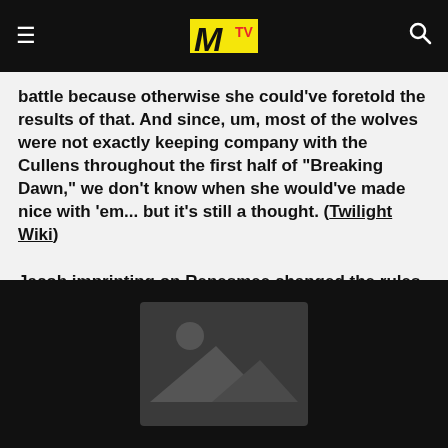MTV
battle because otherwise she could've foretold the results of that. And since, um, most of the wolves were not exactly keeping company with the Cullens throughout the first half of "Breaking Dawn," we don't know when she would've made nice with 'em... but it's still a thought. (Twilight Wiki)
Jacob imprinting on Renesmee changed the rules altogether.
[Figure (photo): Placeholder image with mountain/landscape icon on dark background]